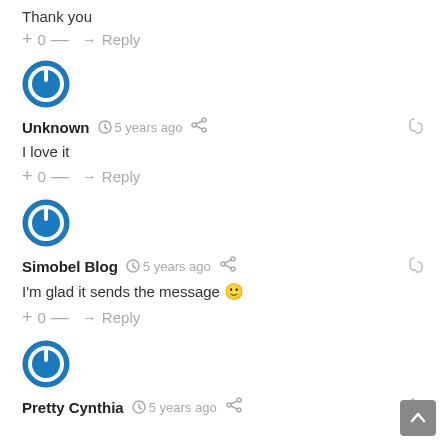Thank you
+ 0 — → Reply
[Figure (illustration): Blue circular power button avatar icon]
Unknown  5 years ago
I love it
+ 0 — → Reply
[Figure (illustration): Blue circular power button avatar icon]
Simobel Blog  5 years ago
I'm glad it sends the message 🙂
+ 0 — → Reply
[Figure (illustration): Blue circular power button avatar icon]
Pretty Cynthia  5 years ago